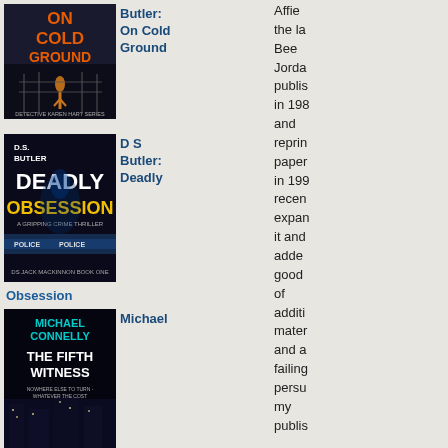[Figure (illustration): Book cover: D.S. Butler - On Cold Ground, Detective Karen Hart Series, dark moody atmosphere with figure on road]
Butler: On Cold Ground
[Figure (illustration): Book cover: D.S. Butler - Deadly Obsession, DS Jack Mackinnon Book One, crime thriller with police tape]
D S Butler: Deadly Obsession
[Figure (illustration): Book cover: Michael Connelly - The Fifth Witness]
Michael
Affie the la Bee Jorda publis in 198 and reprin paper in 199 recen expan it and adde good of additi mater and a failing persu my publis